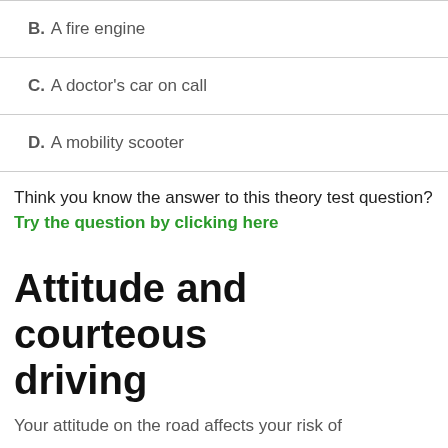B. A fire engine
C. A doctor's car on call
D. A mobility scooter
Think you know the answer to this theory test question?
Try the question by clicking here
Attitude and courteous driving
Your attitude on the road affects your risk of